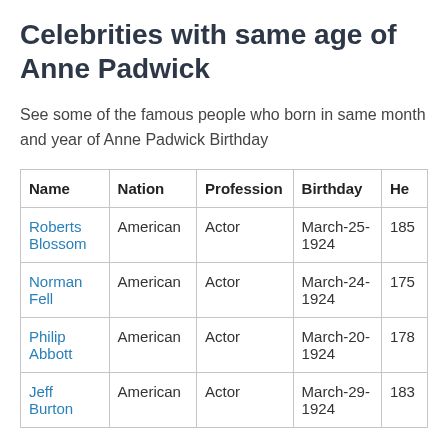Celebrities with same age of Anne Padwick
See some of the famous people who born in same month and year of Anne Padwick Birthday
| Name | Nation | Profession | Birthday | He |
| --- | --- | --- | --- | --- |
| Roberts Blossom | American | Actor | March-25-1924 | 185 |
| Norman Fell | American | Actor | March-24-1924 | 175 |
| Philip Abbott | American | Actor | March-20-1924 | 178 |
| Jeff Burton | American | Actor | March-29-1924 | 183 |